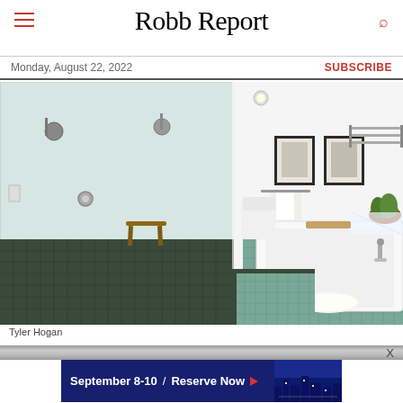Robb Report
Monday, August 22, 2022
SUBSCRIBE
[Figure (photo): Luxury bathroom with glass-enclosed walk-in shower featuring dark tile floor and green tile surrounding, wooden stool inside shower, white soaking tub with green tile surround on the right, two framed artworks on wall, white towels, and decorative items.]
Tyler Hogan
[Figure (screenshot): Advertisement banner for an event: 'September 8-10 / Reserve Now' with city skyline image on dark navy blue background with red arrow.]